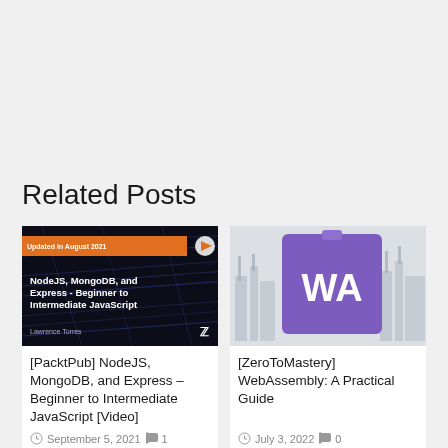Related Posts
[Figure (photo): Book cover for NodeJS, MongoDB, and Express – Beginner to Intermediate JavaScript [Video] by Packt Publishing]
[PacktPub] NodeJS, MongoDB, and Express – Beginner to Intermediate JavaScript [Video]
September 5, 2021  1
[Figure (photo): Course thumbnail for ZeroToMastery WebAssembly: A Practical Guide showing WA letters on purple background with industrial background]
[ZeroToMastery] WebAssembly: A Practical Guide
July 3, 2022  0